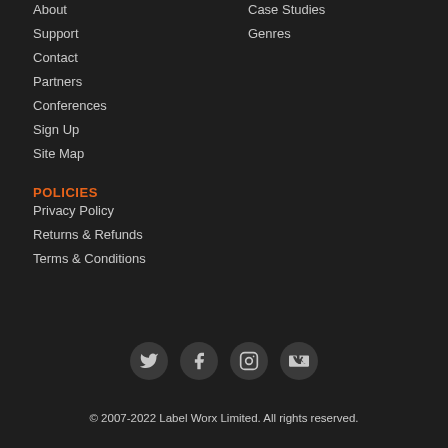About
Support
Contact
Partners
Conferences
Sign Up
Site Map
Case Studies
Genres
POLICIES
Privacy Policy
Returns & Refunds
Terms & Conditions
[Figure (infographic): Social media icons: Twitter, Facebook, Instagram, VK in dark circular buttons]
© 2007-2022 Label Worx Limited. All rights reserved.